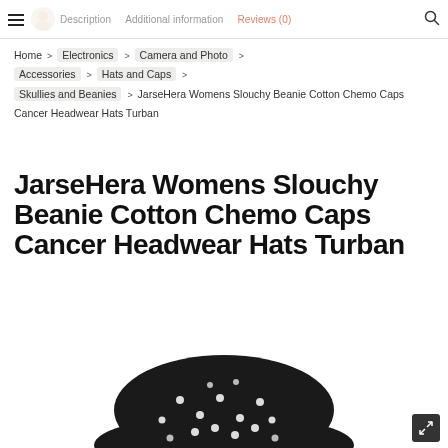Description | Additional information | Reviews (0)
Home > Electronics > Camera and Photo > Accessories > Hats and Caps > Skullies and Beanies > JarseHera Womens Slouchy Beanie Cotton Chemo Caps Cancer Headwear Hats Turban
JarseHera Womens Slouchy Beanie Cotton Chemo Caps Cancer Headwear Hats Turban
[Figure (photo): Black polka dot slouchy beanie hat product photo, partially visible at bottom of page]